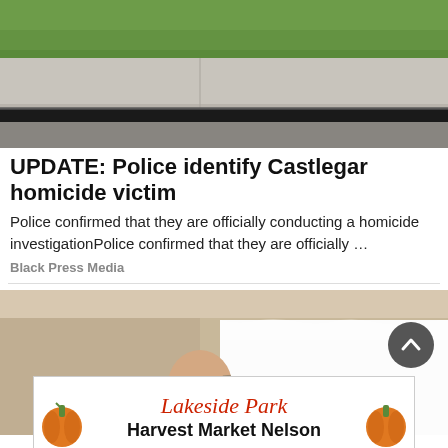[Figure (photo): Street curb with grass, sidewalk, and road surface viewed from above]
UPDATE: Police identify Castlegar homicide victim
Police confirmed that they are officially conducting a homicide investigationPolice confirmed that they are officially …
Black Press Media
[Figure (photo): Bald man painting a room wall white with a roller brush]
[Figure (other): Lakeside Park Harvest Market Nelson advertisement banner]